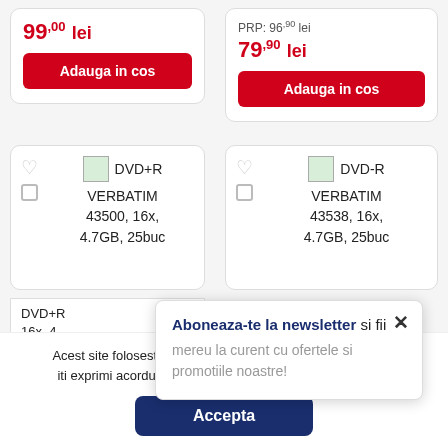99,00 lei
Adauga in cos
PRP: 96,90 lei
79,90 lei
Adauga in cos
DVD+R VERBATIM 43500, 16x, 4.7GB, 25buc
DVD-R VERBATIM 43538, 16x, 4.7GB, 25buc
DVD+R 16x, 4...
Aboneaza-te la newsletter si fii mereu la curent cu ofertele si promotiile noastre!
Acest site foloseste cookie-uri. Prin navigarea pe acest site, iti exprimi acordul asupra folosirii cookie-urilor. Citeste aici
Accepta